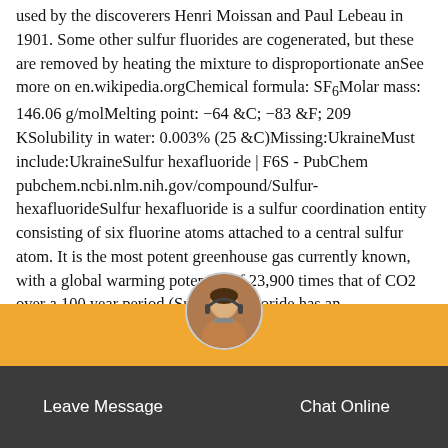used by the discoverers Henri Moissan and Paul Lebeau in 1901. Some other sulfur fluorides are cogenerated, but these are removed by heating the mixture to disproportionate anSee more on en.wikipedia.orgChemical formula: SF₆Molar mass: 146.06 g/molMelting point: −64 &C; −83 &F; 209 KSolubility in water: 0.003% (25 &C)Missing:UkraineMust include:UkraineSulfur hexafluoride | F6S - PubChem pubchem.ncbi.nlm.nih.gov/compound/Sulfur-hexafluorideSulfur hexafluoride is a sulfur coordination entity consisting of six fluorine atoms attached to a central sulfur atom. It is the most potent greenhouse gas currently known, with a global warming potential of 23,900 times that of CO2 over a 100 year period (Sulfr hexafluoride has an
[Figure (screenshot): Orange chat bar with 'Close' text, avatar circle with customer service agent photo, and dark bottom bar with 'Leave Message' and 'Chat Online' buttons]